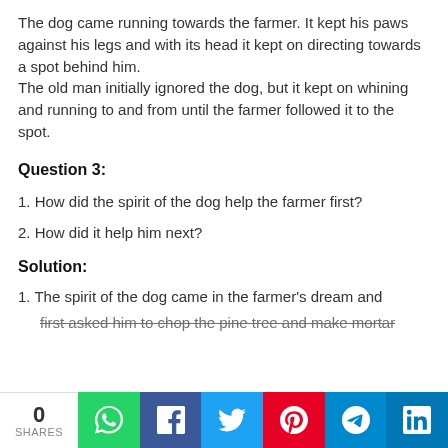The dog came running towards the farmer. It kept his paws against his legs and with its head it kept on directing towards a spot behind him.
The old man initially ignored the dog, but it kept on whining and running to and from until the farmer followed it to the spot.
Question 3:
1. How did the spirit of the dog help the farmer first?
2. How did it help him next?
Solution:
1. The spirit of the dog came in the farmer's dream and first asked him to chop the pine tree and make mortar...